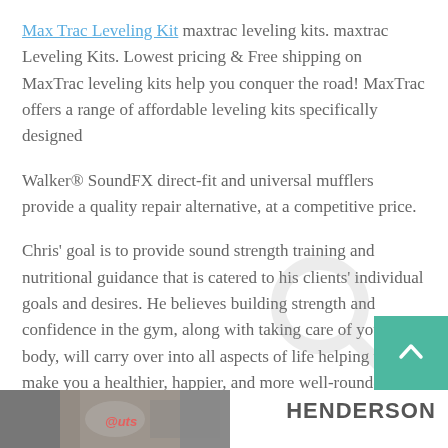Max Trac Leveling Kit maxtrac leveling kits. maxtrac Leveling Kits. Lowest pricing & Free shipping on MaxTrac leveling kits help you conquer the road! MaxTrac offers a range of affordable leveling kits specifically designed
Walker® SoundFX direct-fit and universal mufflers provide a quality repair alternative, at a competitive price.
Chris' goal is to provide sound strength training and nutritional guidance that is catered to his clients' individual goals and desires. He believes building strength and confidence in the gym, along with taking care of your body, will carry over into all aspects of life helping to make you a healthier, happier, and more well-rounded …
[Figure (photo): Bottom strip with a photo on the left and HENDERSON text on the right]